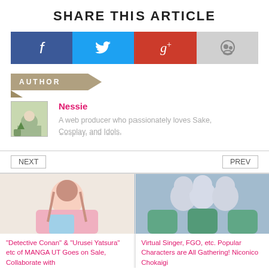SHARE THIS ARTICLE
[Figure (infographic): Social sharing buttons: Facebook (blue), Twitter (cyan), Google+ (red/orange), Reddit (light gray)]
AUTHOR
[Figure (photo): Author avatar placeholder image]
Nessie
A web producer who passionately loves Sake, Cosplay, and Idols.
NEXT
PREV
[Figure (photo): Photo of a woman in a pink shirt with anime graphic]
"Detective Conan" & "Urusei Yatsura" etc of MANGA UT Goes on Sale, Collaborate with
[Figure (photo): Photo of cosplayers with white/silver hair in green outfits]
Virtual Singer, FGO, etc. Popular Characters are All Gathering! Niconico Chokaigi